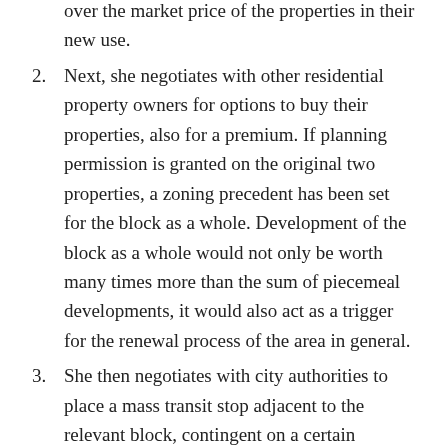over the market price of the properties in their new use.
2. Next, she negotiates with other residential property owners for options to buy their properties, also for a premium. If planning permission is granted on the original two properties, a zoning precedent has been set for the block as a whole. Development of the block as a whole would not only be worth many times more than the sum of piecemeal developments, it would also act as a trigger for the renewal process of the area in general.
3. She then negotiates with city authorities to place a mass transit stop adjacent to the relevant block, contingent on a certain volume of commercial development.
4. Next, the entrepreneur takes out options to